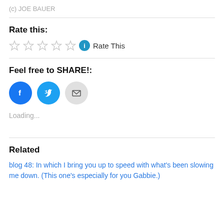(c) JOE BAUER
Rate this:
☆☆☆☆☆ ℹ Rate This
Feel free to SHARE!:
[Figure (illustration): Three social share buttons: Facebook (blue circle with f icon), Twitter (blue circle with bird icon), Email (light gray circle with envelope icon)]
Loading...
Related
blog 48: In which I bring you up to speed with what's been slowing me down. (This one's especially for you Gabbie.)